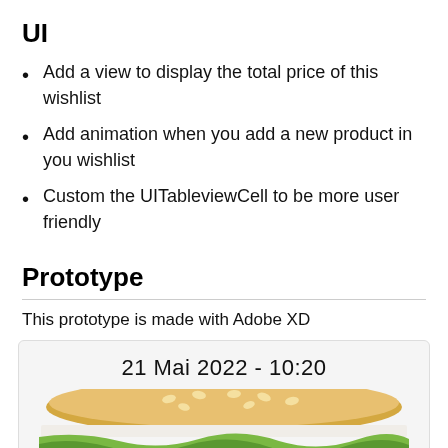UI
Add a view to display the total price of this wishlist
Add animation when you add a new product in you wishlist
Custom the UITableviewCell to be more user friendly
Prototype
This prototype is made with Adobe XD
[Figure (screenshot): A prototype screenshot box showing '21 Mai 2022 - 10:20' at the top with a burger/sandwich photo below showing a sesame bun with lettuce and tomatoes]